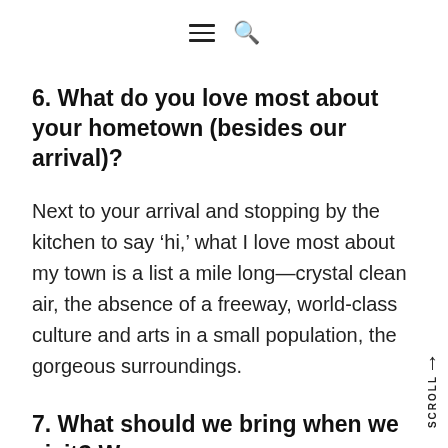≡ 🔍
6. What do you love most about your hometown (besides our arrival)?
Next to your arrival and stopping by the kitchen to say 'hi,' what I love most about my town is a list a mile long—crystal clean air, the absence of a freeway, world-class culture and arts in a small population, the gorgeous surroundings.
7. What should we bring when we visit? W